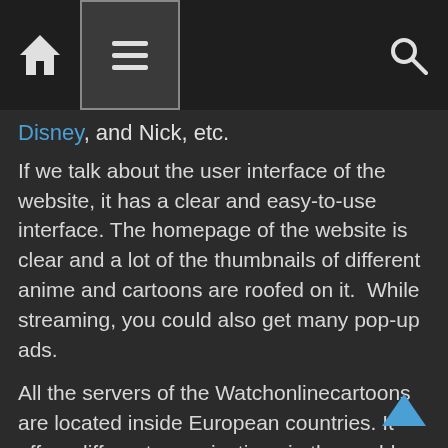[navigation bar with home, menu, and search icons]
Disney, and Nick, etc.
If we talk about the user interface of the website, it has a clear and easy-to-use interface. The homepage of the website is clear and a lot of the thumbnails of different anime and cartoons are roofed on it.  While streaming, you could also get many pop-up ads.
All the servers of the Watchonlinecartoons are located inside European countries. It offers different organizations in the world including the US, UK, and Australia with English dubbed content. The Watch Online Cartoon website has been thought of to tackle personal time that goes on for an interesting span.